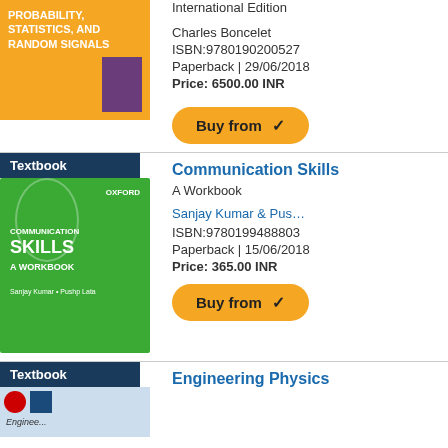[Figure (illustration): Book cover: Probability, Statistics, and Random Signals - orange cover with purple inner book]
International Edition
Charles Boncelet
ISBN:9780190200527
Paperback | 29/06/2018
Price: 6500.00 INR
Buy from
Textbook
[Figure (illustration): Book cover: Communication Skills - A Workbook, green cover with circular design]
Communication Skills
A Workbook
Sanjay Kumar & Pus...
ISBN:9780199488803
Paperback | 15/06/2018
Price: 365.00 INR
Buy from
Textbook
[Figure (illustration): Book cover: Engineering Physics - partial view]
Engineering Physics